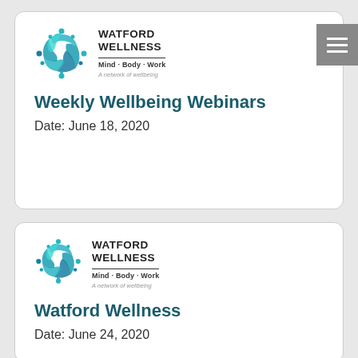[Figure (logo): Watford Wellness logo with circular teal/blue swirl icon and text: WATFORD WELLNESS, Mind · Body · Work, A network of wellbeing]
Weekly Wellbeing Webinars
Date:   June 18, 2020
[Figure (logo): Watford Wellness logo with circular teal/blue swirl icon and text: WATFORD WELLNESS, Mind · Body · Work, A network of wellbeing]
Watford Wellness
Date:   June 24, 2020